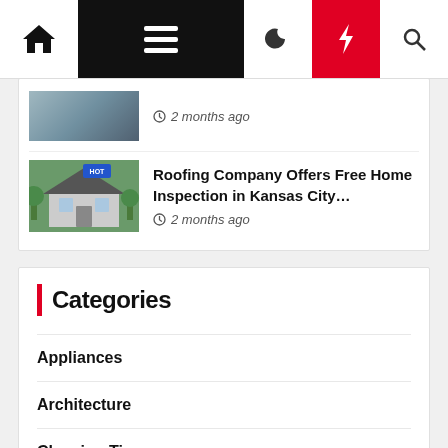[Figure (screenshot): Website navigation bar with home icon, hamburger menu (black background), moon icon, red lightning bolt icon, and search icon]
2 months ago
Roofing Company Offers Free Home Inspection in Kansas City…
2 months ago
Categories
Appliances
Architecture
Cleaning Tips
Furniture